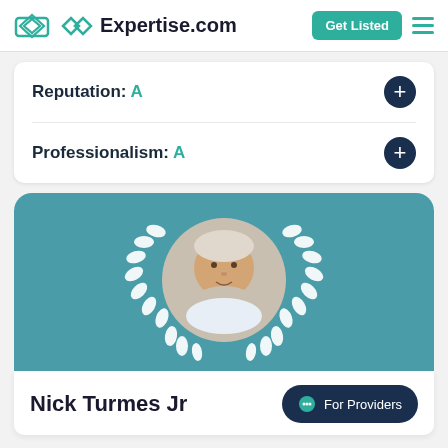Expertise.com
Reputation: A
Professionalism: A
[Figure (photo): Profile card with teal background showing a circular headshot of Nick Turmes Jr surrounded by a white laurel wreath decoration on a teal/blue-green background]
Nick Turmes Jr
For Providers